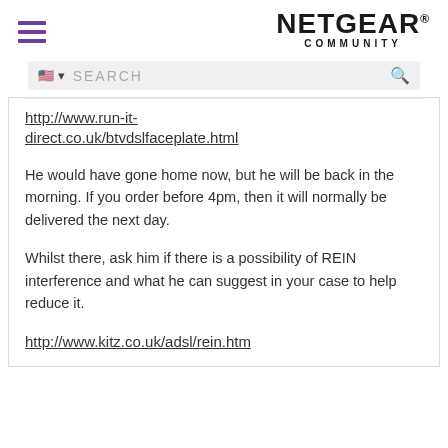NETGEAR COMMUNITY
[Figure (screenshot): Search bar with US flag icon and magnifying glass icon on grey background]
http://www.run-it-direct.co.uk/btvdslfaceplate.html
He would have gone home now, but he will be back in the morning. If you order before 4pm, then it will normally be delivered the next day.
Whilst there, ask him if there is a possibility of REIN interference and what he can suggest in your case to help reduce it.
http://www.kitz.co.uk/adsl/rein.htm